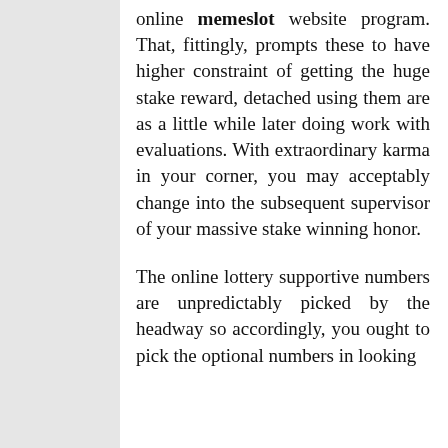online memeslot website program. That, fittingly, prompts these to have higher constraint of getting the huge stake reward, detached using them are as a little while later doing work with evaluations. With extraordinary karma in your corner, you may acceptably change into the subsequent supervisor of your massive stake winning honor.
The online lottery supportive numbers are unpredictably picked by the headway so accordingly, you ought to pick the optional numbers in looking